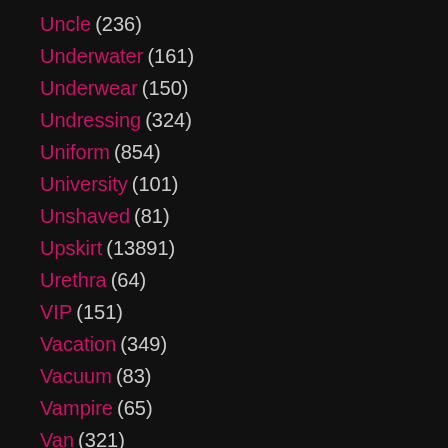Uncle (236)
Underwater (161)
Underwear (150)
Undressing (324)
Uniform (854)
University (101)
Unshaved (81)
Upskirt (13891)
Urethra (64)
VIP (151)
Vacation (349)
Vacuum (83)
Vampire (65)
Van (321)
Vegetable (417)
Vibrator (4377)